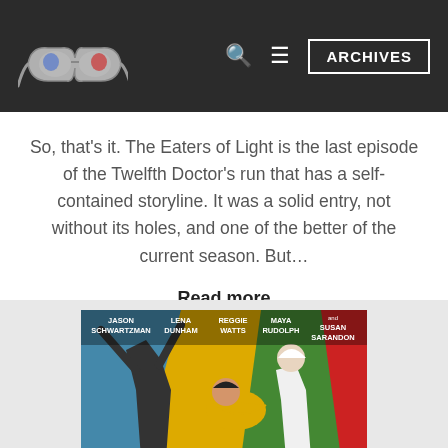Navigation header with 3D glasses logo, search icon, menu icon, and ARCHIVES button
So, that's it. The Eaters of Light is the last episode of the Twelfth Doctor's run that has a self-contained storyline. It was a solid entry, not without its holes, and one of the better of the current season. But…
Read more
[Figure (illustration): Movie poster illustration showing animated figures with cast names: JASON SCHWARTZMAN, LENA DUNHAM, REGGIE WATTS, MAYA RUDOLPH, and SUSAN SARANDON on colorful background]